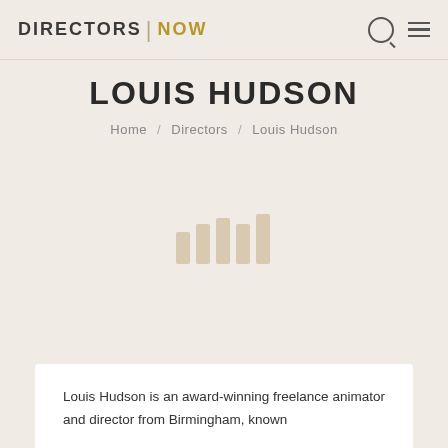DIRECTORS NOW
LOUIS HUDSON
Home / Directors / Louis Hudson
[Figure (logo): Loading animation bars icon in beige/tan color]
Louis Hudson is an award-winning freelance animator and director from Birmingham, known